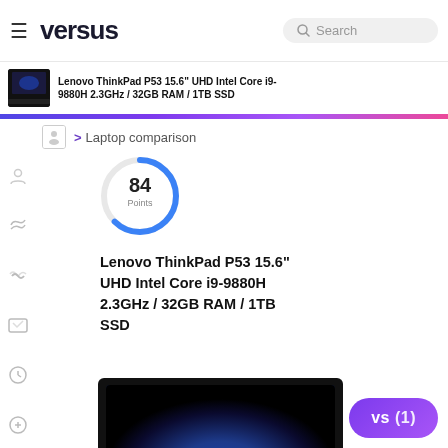versus — Search — hamburger menu
Lenovo ThinkPad P53 15.6" UHD Intel Core i9-9880H 2.3GHz / 32GB RAM / 1TB SSD
> Laptop comparison
[Figure (infographic): Circular score gauge showing 84 Points in blue ring]
Lenovo ThinkPad P53 15.6" UHD Intel Core i9-9880H 2.3GHz / 32GB RAM / 1TB SSD
[Figure (photo): Black Lenovo ThinkPad P53 laptop with blue earth wallpaper on display]
vs (1)